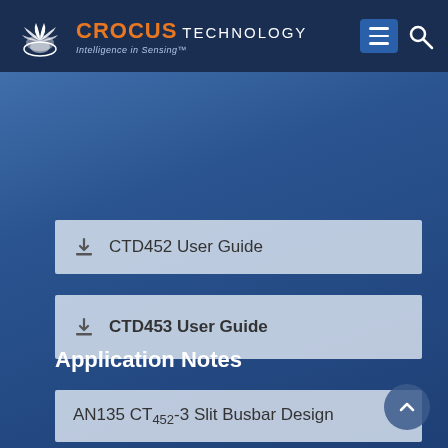CROCUS TECHNOLOGY - Intelligence in Sensing
CTD452 User Guide
CTD453 User Guide
Application Notes
AN135 CT452-3 Slit Busbar Design